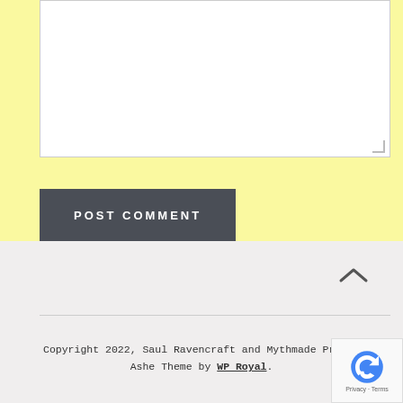[Figure (screenshot): Empty comment textarea input field with resize handle in bottom-right corner, on a yellow background]
POST COMMENT
Copyright 2022, Saul Ravencraft and Mythmade Produ… Ashe Theme by WP Royal.
[Figure (logo): reCAPTCHA badge with Google logo and Privacy - Terms text]